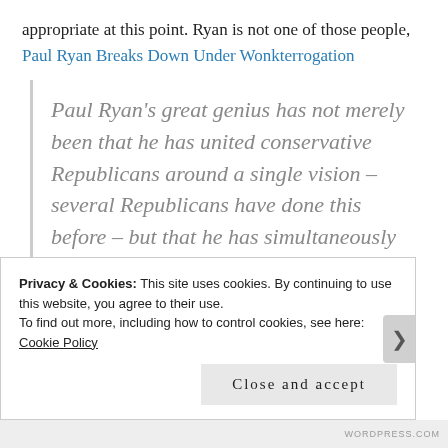appropriate at this point. Ryan is not one of those people,
Paul Ryan Breaks Down Under Wonkterrogation
Paul Ryan’s great genius has not merely been that he has united conservative Republicans around a single vision – several Republicans have done this before – but that he has simultaneously persuaded moderates that he shares their beliefs as well. That is
Privacy & Cookies: This site uses cookies. By continuing to use this website, you agree to their use.
To find out more, including how to control cookies, see here: Cookie Policy
Close and accept